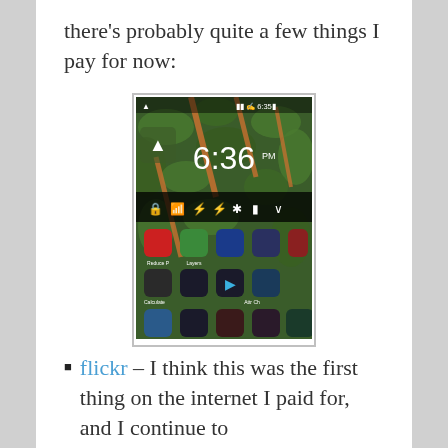there's probably quite a few things I pay for now:
[Figure (screenshot): Screenshot of an Android phone home screen showing the time 6:36 PM with a green leafy plant wallpaper and app icons arranged in a grid.]
flickr – I think this was the first thing on the internet I paid for, and I continue to